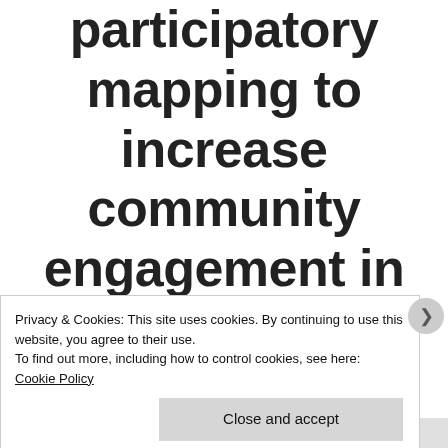participatory mapping to increase community engagement in bushfire
Privacy & Cookies: This site uses cookies. By continuing to use this website, you agree to their use.
To find out more, including how to control cookies, see here: Cookie Policy
Close and accept